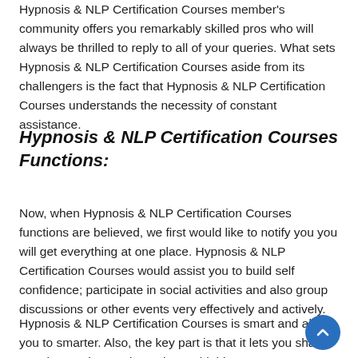Hypnosis & NLP Certification Courses member's community offers you remarkably skilled pros who will always be thrilled to reply to all of your queries. What sets Hypnosis & NLP Certification Courses aside from its challengers is the fact that Hypnosis & NLP Certification Courses understands the necessity of constant assistance.
Hypnosis & NLP Certification Courses Functions:
Now, when Hypnosis & NLP Certification Courses functions are believed, we first would like to notify you you will get everything at one place. Hypnosis & NLP Certification Courses would assist you to build self confidence; participate in social activities and also group discussions or other events very effectively and actively.
Hypnosis & NLP Certification Courses is smart and allows you to smarter. Also, the key part is that it lets you share your heartaches and emotions a highly